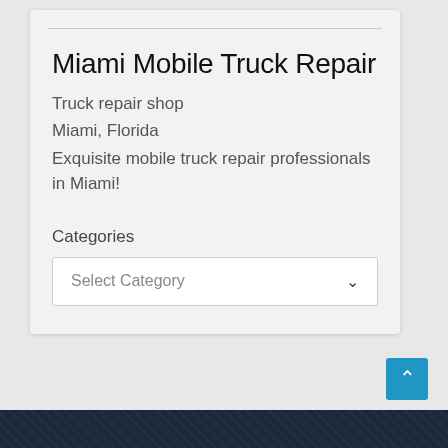Miami Mobile Truck Repair
Truck repair shop
Miami, Florida
Exquisite mobile truck repair professionals in Miami!
Categories
Select Category